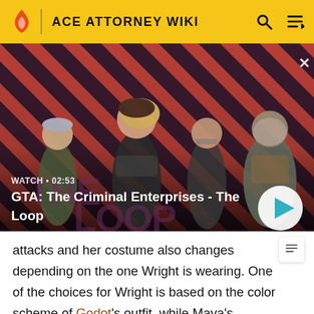ACE ATTORNEY WIKI
[Figure (screenshot): Video thumbnail for 'GTA: The Criminal Enterprises - The Loop' showing four game characters on a red diagonal striped background with play button overlay. Duration shown: 02:53]
attacks and her costume also changes depending on the one Wright is wearing. One of the choices for Wright is based on the color scheme of Godot's outfit, while Maya's corresponding color scheme is based on Kay's color scheme.